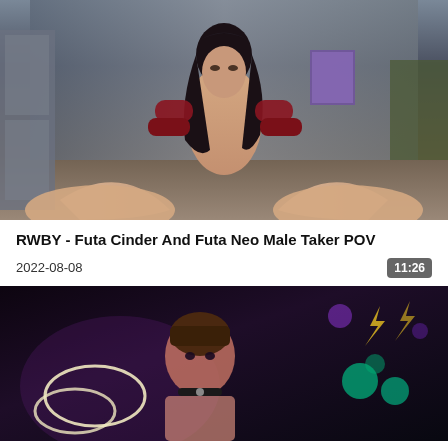[Figure (screenshot): 3D animated character thumbnail - dark-haired female figure in a room]
RWBY - Futa Cinder And Futa Neo Male Taker POV
2022-08-08
11:26
[Figure (screenshot): Dark animated scene with character wearing collar, glowing ring shapes visible]